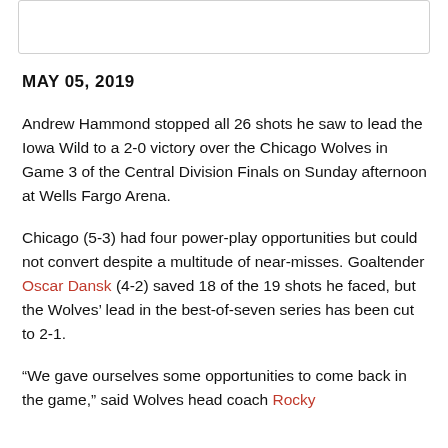[Figure (other): White rectangular box at the top of the page, likely a header image placeholder]
MAY 05, 2019
Andrew Hammond stopped all 26 shots he saw to lead the Iowa Wild to a 2-0 victory over the Chicago Wolves in Game 3 of the Central Division Finals on Sunday afternoon at Wells Fargo Arena.
Chicago (5-3) had four power-play opportunities but could not convert despite a multitude of near-misses. Goaltender Oscar Dansk (4-2) saved 18 of the 19 shots he faced, but the Wolves’ lead in the best-of-seven series has been cut to 2-1.
“We gave ourselves some opportunities to come back in the game,” said Wolves head coach Rocky